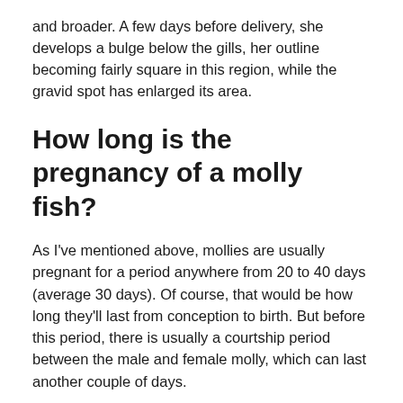and broader. A few days before delivery, she develops a bulge below the gills, her outline becoming fairly square in this region, while the gravid spot has enlarged its area.
How long is the pregnancy of a molly fish?
As I've mentioned above, mollies are usually pregnant for a period anywhere from 20 to 40 days (average 30 days). Of course, that would be how long they'll last from conception to birth. But before this period, there is usually a courtship period between the male and female molly, which can last another couple of days.